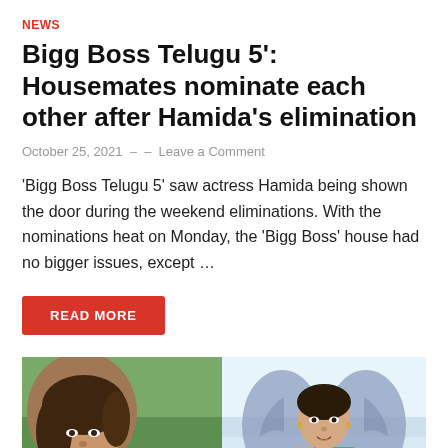NEWS
Bigg Boss Telugu 5': Housemates nominate each other after Hamida's elimination
October 25, 2021  -  -  Leave a Comment
'Bigg Boss Telugu 5' saw actress Hamida being shown the door during the weekend eliminations. With the nominations heat on Monday, the 'Bigg Boss' house had no bigger issues, except ...
READ MORE
[Figure (photo): Two photos side by side: left shows a woman with brown hair outdoors, right shows a woman with angel wings indoors]